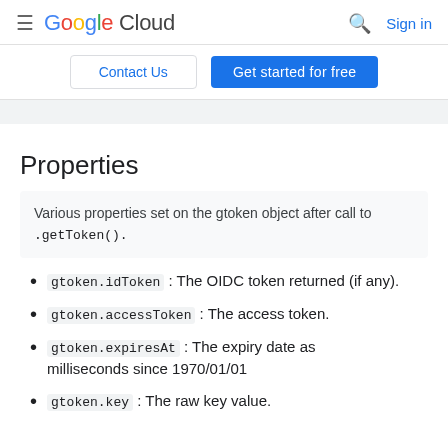Google Cloud — Sign in
Contact Us | Get started for free
Properties
Various properties set on the gtoken object after call to .getToken().
gtoken.idToken: The OIDC token returned (if any).
gtoken.accessToken: The access token.
gtoken.expiresAt: The expiry date as milliseconds since 1970/01/01
gtoken.key: The raw key value.